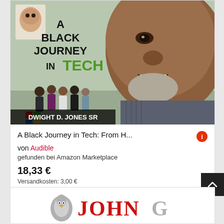[Figure (illustration): Book cover of 'A Black Journey in Tech' by Dwight D. Jones SR. Cover shows a close-up of a smiling Black man with grey beard, a baby photo in top left, text 'A BLACK JOURNEY IN TECH' with 'TECH' in green, a group of people in the background, and 'DWIGHT D. JONES SR' at the bottom.]
A Black Journey in Tech: From H...
von Audible
gefunden bei Amazon Marketplace
18,33 €
Versandkosten: 3,00 €
[Figure (logo): Partial logo with penguin figure and text 'JOHN' in red/grey lettering, partially cut off at bottom of page.]